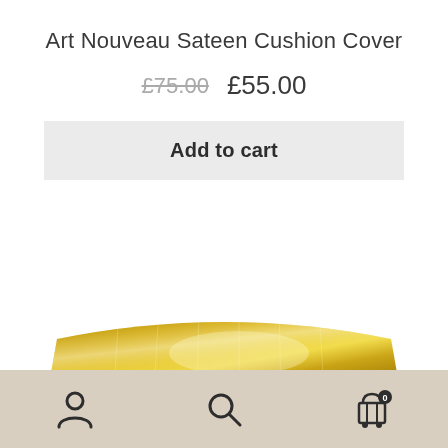Art Nouveau Sateen Cushion Cover
£75.00  £55.00
Add to cart
[Figure (photo): A gold/yellow rectangular cushion with shiny velvet texture, shown from a low angle against a white background.]
[Figure (other): Bottom navigation bar with user account icon, search icon, and shopping cart icon with badge showing 0.]